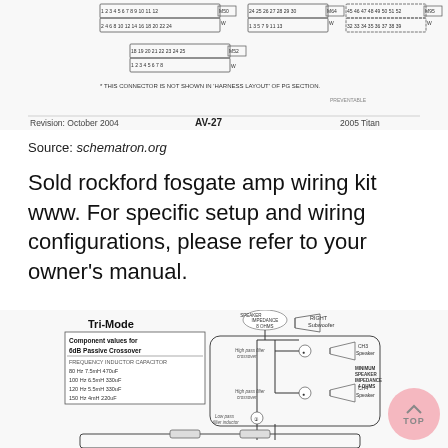[Figure (schematic): Top portion of an automotive wiring harness connector diagram for AV-27, 2005 Titan. Shows connector pin layouts with numbered terminals and footnote: 'THIS CONNECTOR IS NOT SHOWN IN HARNESS LAYOUT OF PG SECTION.' Revision: October 2004, AV-27, 2005 Titan.]
Source: schematron.org
Sold rockford fosgate amp wiring kit www. For specific setup and wiring configurations, please refer to your owner's manual.
[Figure (schematic): Tri-Mode wiring diagram for Rockford Fosgate amplifier showing Component values for 6dB Passive Crossover. Table lists frequency, inductor, capacitor values: 80Hz 7.5mH 470uF, 100Hz 6.5mH 330uF, 120Hz 5.5mH 330uF, 150Hz 4mH 220uF. Diagram shows connections to RIGHT Subwoofer (Speaker Impedance 8 Ohms), CH3 Speaker, CH4 Speaker (Minimum Speaker Impedance 4 Ohms), High pass filter crossovers, and Low pass filter inductor.]